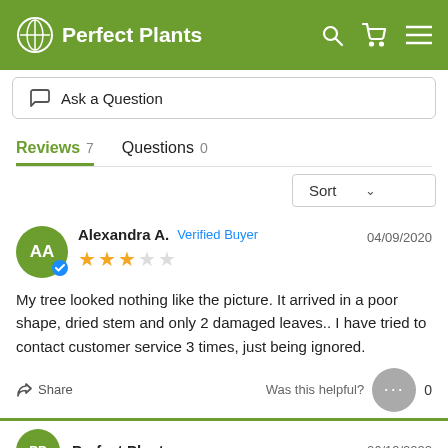Perfect Plants
Ask a Question
Reviews 7   Questions 0
Sort
Alexandra A.  Verified Buyer   04/09/2020  ★★★☆☆
My tree looked nothing like the picture. It arrived in a poor shape, dried stem and only 2 damaged leaves.. I have tried to contact customer service 3 times, just being ignored.
Share   Was this helpful?  0
Perfect Plants   06/19/2022